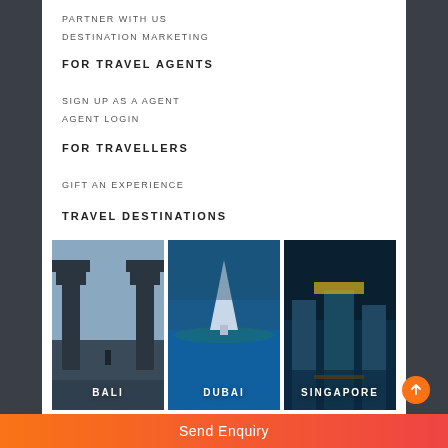PARTNER WITH US
DESTINATION MARKETING
FOR TRAVEL AGENTS
SIGN UP AS A AGENT
AGENT LOGIN
FOR TRAVELLERS
GIFT AN EXPERIENCE
TRAVEL DESTINATIONS
[Figure (photo): Three destination photos side by side: Bali (temple gate), Dubai (Burj Al Arab aerial), Singapore (Marina Bay Sands at night)]
Send Enquiry